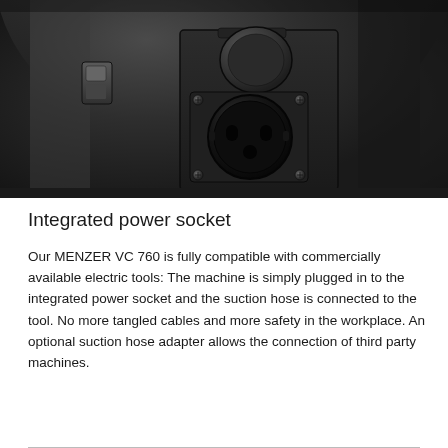[Figure (photo): Close-up photograph of a dark-colored MENZER VC 760 vacuum cleaner showing the integrated power socket panel with a Schuko-type electrical outlet, a flip-open lid above the socket, and a power switch on the left side of the machine body.]
Integrated power socket
Our MENZER VC 760 is fully compatible with commercially available electric tools: The machine is simply plugged in to the integrated power socket and the suction hose is connected to the tool. No more tangled cables and more safety in the workplace. An optional suction hose adapter allows the connection of third party machines.